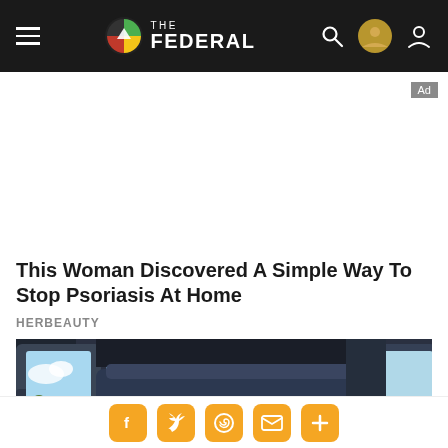THE FEDERAL
[Figure (screenshot): Advertisement space (blank white area) with 'Ad' label in top right corner]
This Woman Discovered A Simple Way To Stop Psoriasis At Home
HERBEAUTY
[Figure (photo): A person with dark curly hair leaning/sleeping in the back seat of a vehicle, visible car window showing countryside with green fields and trees]
Social sharing bar with Facebook, Twitter, WhatsApp, Email, and More buttons